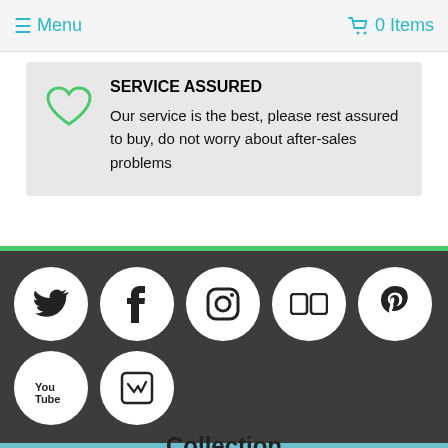≡ Menu   🛒 0 Items
SERVICE ASSURED
Our service is the best, please rest assured to buy, do not worry about after-sales problems
[Figure (infographic): Social media icon buttons in white circles on dark background: Twitter, Facebook, Instagram, Flickr, Pinterest, YouTube, Vimeo]
Collection